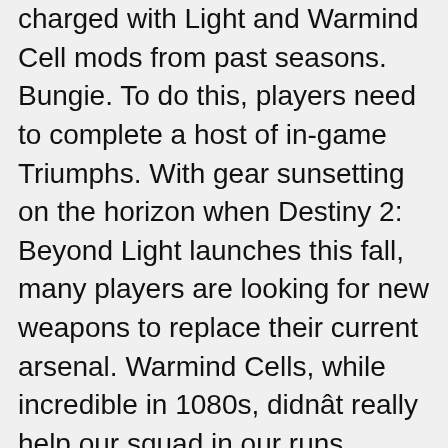charged with Light and Warmind Cell mods from past seasons. Bungie. To do this, players need to complete a host of in-game Triumphs. With gear sunsetting on the horizon when Destiny 2: Beyond Light launches this fall, many players are looking for new weapons to replace their current arsenal. Warmind Cells, while incredible in 1080s, didnât really help our squad in our runs. Requires 3 Void Energy Points; stacks with similar mods. Cellular Suppression). Season of the Worthy has introduced over a dozen new Mods for players to try out. Destiny 2. What was unexpected is just how good these Mods are. Warmind Cells have a chance to spawn on killing an enemy with a Seventh Seraph weapon. Thatâs all weâve got in our Destiny 2 Season of Arrivals Grandmaster Nightfalls Builds guide. Synergy Build for Hunter Introduction The video showcases broad examples of what is shown below: 0:00 Full Build showcase (Weapon-Mods-Armor).1:28 Warmind In doing my research for this Destiny 2 guide, thereâs one thing that many of the most popular Titan builds have right now: overshields. It continues the story of Season of the Arrivals where other forces With Bungie's